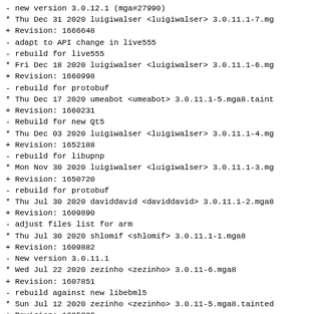- new version 3.0.12.1 (mga#27990)
* Thu Dec 31 2020 luigiwalser <luigiwalser> 3.0.11.1-7.mg
+ Revision: 1666648
- adapt to API change in live555
- rebuild for live555
* Fri Dec 18 2020 luigiwalser <luigiwalser> 3.0.11.1-6.mg
+ Revision: 1660998
- rebuild for protobuf
* Thu Dec 17 2020 umeabot <umeabot> 3.0.11.1-5.mga8.taint
+ Revision: 1660231
- Rebuild for new Qt5
* Thu Dec 03 2020 luigiwalser <luigiwalser> 3.0.11.1-4.mg
+ Revision: 1652188
- rebuild for libupnp
* Mon Nov 30 2020 luigiwalser <luigiwalser> 3.0.11.1-3.mg
+ Revision: 1650720
- rebuild for protobuf
* Thu Jul 30 2020 daviddavid <daviddavid> 3.0.11.1-2.mga8
+ Revision: 1609890
- adjust files list for arm
* Thu Jul 30 2020 shlomif <shlomif> 3.0.11.1-1.mga8
+ Revision: 1609882
- New version 3.0.11.1
* Wed Jul 22 2020 zezinho <zezinho> 3.0.11-6.mga8
+ Revision: 1607851
- rebuild against new libebml5
* Sun Jul 12 2020 zezinho <zezinho> 3.0.11-5.mga8.tainted
+ Revision: 1605336
- rebuild against x265 3.4
* Mon Jul 06 2020 daviddavid <daviddavid> 3.0.11-4.mga8.t